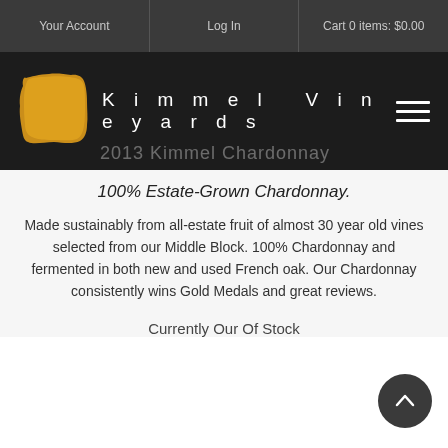Your Account | Log In | Cart 0 items: $0.00
[Figure (logo): Kimmel Vineyards logo with yellow painted square and brand name]
2013 Kimmel Chardonnay
100% Estate-Grown Chardonnay.
Made sustainably from all-estate fruit of almost 30 year old vines selected from our Middle Block. 100% Chardonnay and fermented in both new and used French oak. Our Chardonnay consistently wins Gold Medals and great reviews.
Currently Our Of Stock